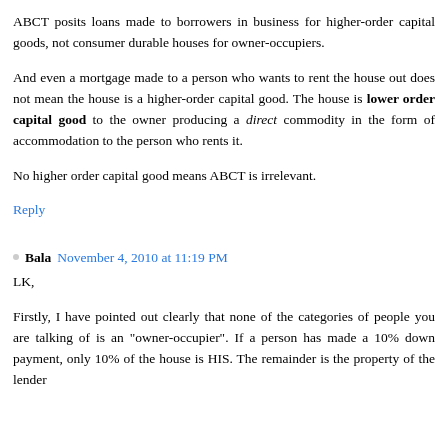ABCT posits loans made to borrowers in business for higher-order capital goods, not consumer durable houses for owner-occupiers.
And even a mortgage made to a person who wants to rent the house out does not mean the house is a higher-order capital good. The house is lower order capital good to the owner producing a direct commodity in the form of accommodation to the person who rents it.
No higher order capital good means ABCT is irrelevant.
Reply
Bala  November 4, 2010 at 11:19 PM
LK,
Firstly, I have pointed out clearly that none of the categories of people you are talking of is an "owner-occupier". If a person has made a 10% down payment, only 10% of the house is HIS. The remainder is the property of the lender